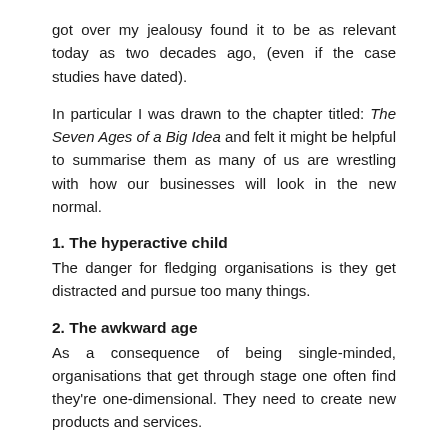got over my jealousy found it to be as relevant today as two decades ago, (even if the case studies have dated).
In particular I was drawn to the chapter titled: The Seven Ages of a Big Idea and felt it might be helpful to summarise them as many of us are wrestling with how our businesses will look in the new normal.
1. The hyperactive child
The danger for fledging organisations is they get distracted and pursue too many things.
2. The awkward age
As a consequence of being single-minded, organisations that get through stage one often find they're one-dimensional. They need to create new products and services.